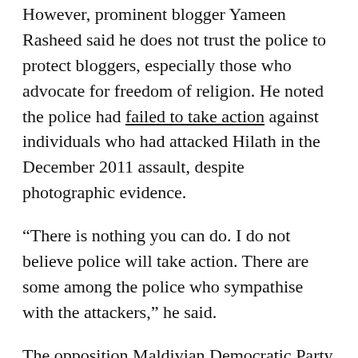However, prominent blogger Yameen Rasheed said he does not trust the police to protect bloggers, especially those who advocate for freedom of religion. He noted the police had failed to take action against individuals who had attacked Hilath in the December 2011 assault, despite photographic evidence.
“There is nothing you can do. I do not believe police will take action. There are some among the police who sympathise with the attackers,” he said.
The opposition Maldivian Democratic Party (MDP) has also alleged that extremist ideologies are prevalent among the security forces.
Yameen, who has also received cyber threats, said his fellow bloggers in the Maldives blogosphere “don’t feel secure at all” in light of the recent